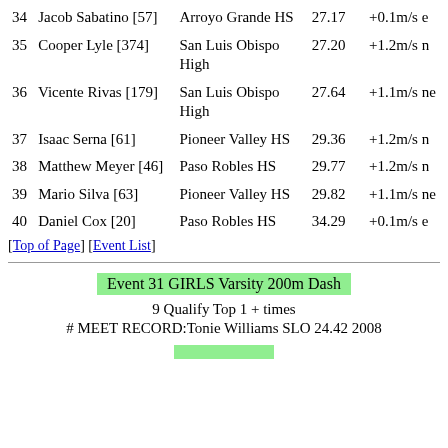| # | Name | School | Time | Wind |
| --- | --- | --- | --- | --- |
| 34 | Jacob Sabatino [57] | Arroyo Grande HS | 27.17 | +0.1m/se |
| 35 | Cooper Lyle [374] | San Luis Obispo High | 27.20 | +1.2m/sn |
| 36 | Vicente Rivas [179] | San Luis Obispo High | 27.64 | +1.1m/sne |
| 37 | Isaac Serna [61] | Pioneer Valley HS | 29.36 | +1.2m/sn |
| 38 | Matthew Meyer [46] | Paso Robles HS | 29.77 | +1.2m/sn |
| 39 | Mario Silva [63] | Pioneer Valley HS | 29.82 | +1.1m/sne |
| 40 | Daniel Cox [20] | Paso Robles HS | 34.29 | +0.1m/se |
[Top of Page] [Event List]
Event 31 GIRLS Varsity 200m Dash
9 Qualify Top 1 + times
# MEET RECORD:Tonie Williams SLO 24.42 2008